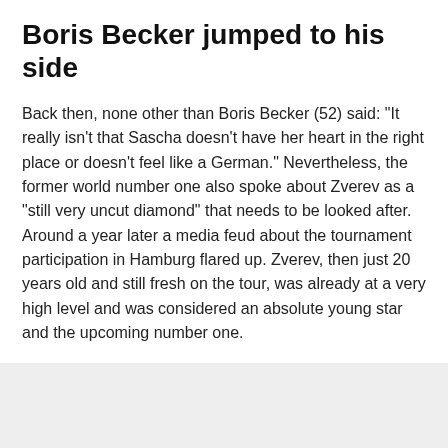Boris Becker jumped to his side
Back then, none other than Boris Becker (52) said: "It really isn't that Sascha doesn't have her heart in the right place or doesn't feel like a German." Nevertheless, the former world number one also spoke about Zverev as a "still very uncut diamond" that needs to be looked after. Around a year later a media feud about the tournament participation in Hamburg flared up. Zverev, then just 20 years old and still fresh on the tour, was already at a very high level and was considered an absolute young star and the upcoming number one.